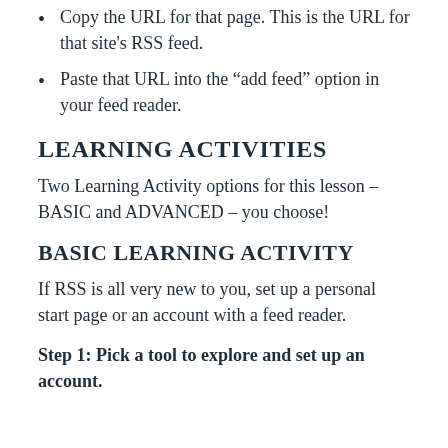Copy the URL for that page. This is the URL for that site's RSS feed.
Paste that URL into the “add feed” option in your feed reader.
LEARNING ACTIVITIES
Two Learning Activity options for this lesson – BASIC and ADVANCED – you choose!
BASIC LEARNING ACTIVITY
If RSS is all very new to you, set up a personal start page or an account with a feed reader.
Step 1: Pick a tool to explore and set up an account.